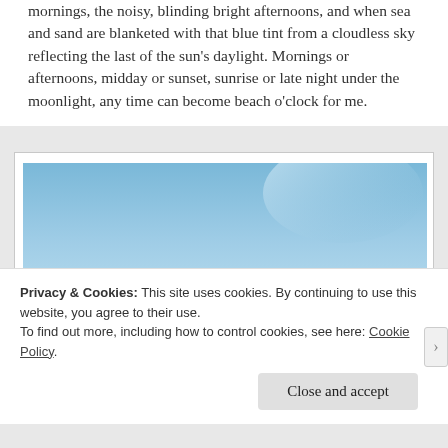mornings, the noisy, blinding bright afternoons, and when sea and sand are blanketed with that blue tint from a cloudless sky reflecting the last of the sun's daylight. Mornings or afternoons, midday or sunset, sunrise or late night under the moonlight, any time can become beach o'clock for me.
[Figure (photo): Panoramic photo of a blue sky with scattered clouds near the horizon and a building silhouette at lower left]
Privacy & Cookies: This site uses cookies. By continuing to use this website, you agree to their use.
To find out more, including how to control cookies, see here: Cookie Policy